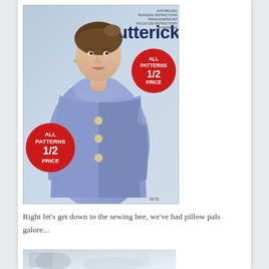[Figure (photo): Butterick sewing patterns catalog cover showing a woman in a blue/periwinkle coat. Two red circular badges read 'ALL PATTERNS 1/2 PRICE'. The Butterick brand name is printed in dark navy bold text at the top right.]
Right let's get down to the sewing bee, we've had pillow pals galore...
[Figure (photo): Partial view of a second photo, partially cut off at the bottom of the page, appearing to show sewing-related items.]